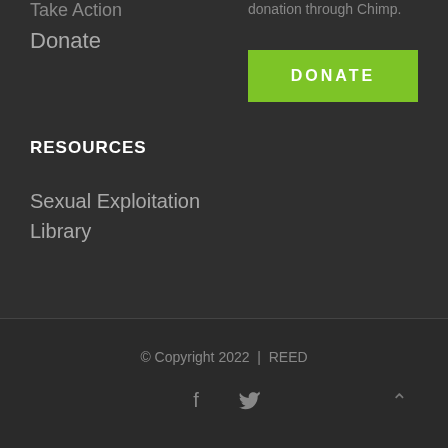Take Action
Donate
donation through Chimp.
DONATE
RESOURCES
Sexual Exploitation
Library
© Copyright 2022  |  REED